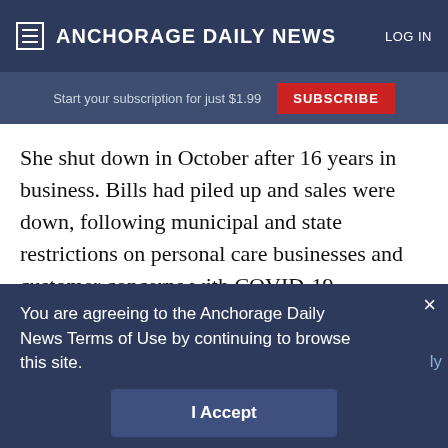≡ ANCHORAGE DAILY NEWS  LOG IN
Start your subscription for just $1.99  SUBSCRIBE
She shut down in October after 16 years in business. Bills had piled up and sales were down, following municipal and state restrictions on personal care businesses and customer concerns with COVID-19.
You are agreeing to the Anchorage Daily News Terms of Use by continuing to browse this site.
Terms of Use
I Accept